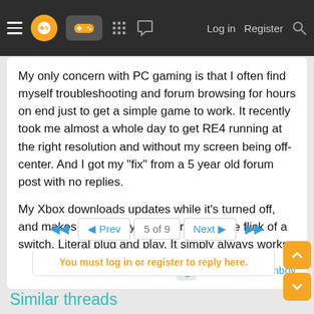Navigation bar with menu, logo, gamepad icon, grid icon, chat icon, Log in, Register, Search
My only concern with PC gaming is that I often find myself troubleshooting and forum browsing for hours on end just to get a simple game to work. It recently took me almost a whole day to get RE4 running at the right resolution and without my screen being off-center. And I got my "fix" from a 5 year old forum post with no replies.
My Xbox downloads updates while it's turned off, and makes sure everything works with the flick of a switch. Literal plug and play. It simply always works.
RuneFactoryFanboy
5 of 9
You must log in or register to reply here.
Similar threads